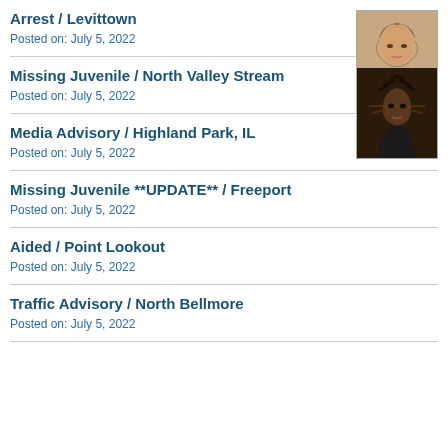Arrest / Levittown
Posted on: July 5, 2022
[Figure (photo): Mugshot of a young woman with long hair]
Missing Juvenile / North Valley Stream
Posted on: July 5, 2022
[Figure (photo): Photo of a young person with hands raised]
Media Advisory / Highland Park, IL
Posted on: July 5, 2022
Missing Juvenile **UPDATE** / Freeport
Posted on: July 5, 2022
Aided / Point Lookout
Posted on: July 5, 2022
Traffic Advisory / North Bellmore
Posted on: July 5, 2022